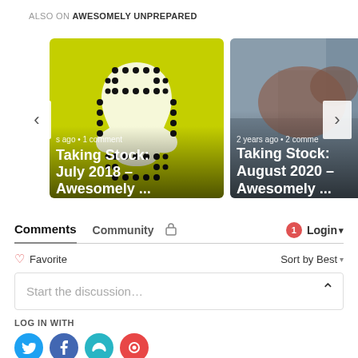ALSO ON AWESOMELY UNPREPARED
[Figure (screenshot): Carousel of two article cards. Left card shows a Snapchat QR code image with overlay text: 'Taking Stock: July 2018 – Awesomely ...' and meta '...s ago • 1 comment'. Right card shows a photo of a dog with overlay text: 'Taking Stock: August 2020 – Awesomely ...' and meta '2 years ago • 2 commen'. Navigation arrows on left and right sides.]
Comments
Community
🔒
1  Login ▾
♡ Favorite
Sort by Best ▾
Start the discussion…
LOG IN WITH
[Figure (screenshot): Social login buttons: Twitter (blue circle), Facebook (dark blue circle), Google/Cyan (cyan circle), Disqus/red (red circle)]